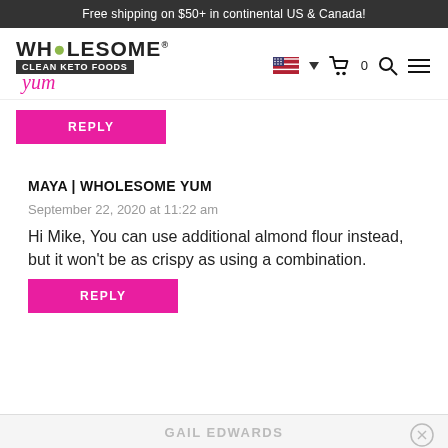Free shipping on $50+ in continental US & Canada!
[Figure (logo): Wholesome Yum Clean Keto Foods logo with navigation icons (US flag, cart, search, menu)]
REPLY
MAYA | WHOLESOME YUM
September 22, 2020 at 11:22 am
Hi Mike, You can use additional almond flour instead, but it won't be as crispy as using a combination.
REPLY
GAIL EDWARDS